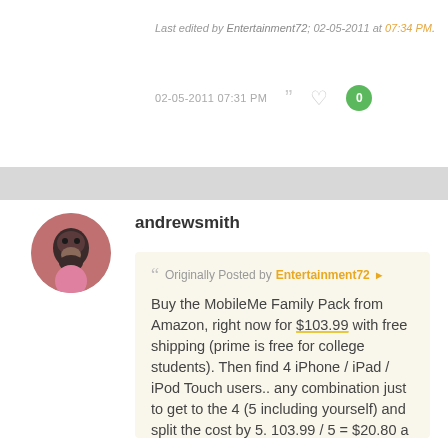Last edited by Entertainment72; 02-05-2011 at 07:34 PM.
02-05-2011 07:31 PM
andrewsmith
Originally Posted by Entertainment72
Buy the MobileMe Family Pack from Amazon, right now for $103.99 with free shipping (prime is free for college students). Then find 4 iPhone / iPad / iPod Touch users.. any combination just to get to the 4 (5 including yourself) and split the cost by 5. 103.99 / 5 = $20.80 a year. MobileMe prices on Amazon have gone up a bit. When I purchased my Family Pack it was just under $80. Still $20 a year is a steal 😀. It is also a great way for those users with...